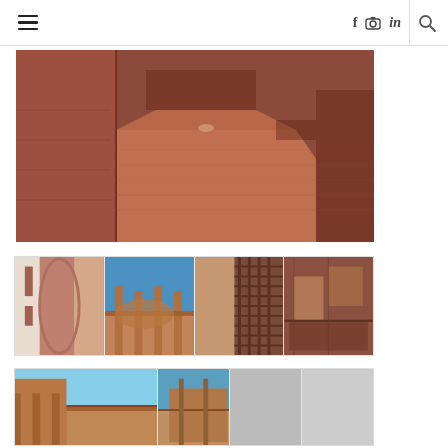Navigation bar with hamburger menu, social icons (f, camera, in), and search icon
[Figure (photo): Interior corridor of a brick/terracotta building, perspective view down a long hallway with brick floor and warm reddish-brown walls]
[Figure (photo): Grid of four architecture thumbnail photos showing: curved brick corridor, rooftop terrace with columns, lattice/trellis detail, and aerial rooftop view - all in warm terracotta tones]
[Figure (photo): Partial lower grid of architecture thumbnail photos showing exterior walkways and terraces of the same brick building]